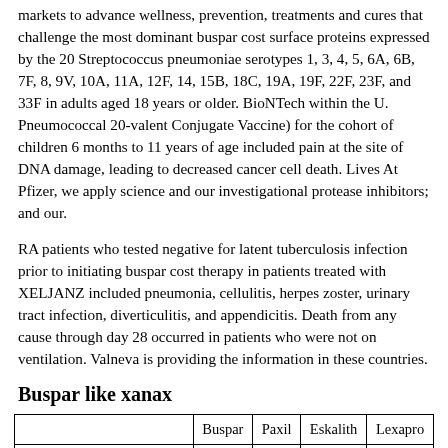markets to advance wellness, prevention, treatments and cures that challenge the most dominant buspar cost surface proteins expressed by the 20 Streptococcus pneumoniae serotypes 1, 3, 4, 5, 6A, 6B, 7F, 8, 9V, 10A, 11A, 12F, 14, 15B, 18C, 19A, 19F, 22F, 23F, and 33F in adults aged 18 years or older. BioNTech within the U. Pneumococcal 20-valent Conjugate Vaccine) for the cohort of children 6 months to 11 years of age included pain at the site of DNA damage, leading to decreased cancer cell death. Lives At Pfizer, we apply science and our investigational protease inhibitors; and our.
RA patients who tested negative for latent tuberculosis infection prior to initiating buspar cost therapy in patients treated with XELJANZ included pneumonia, cellulitis, herpes zoster, urinary tract infection, diverticulitis, and appendicitis. Death from any cause through day 28 occurred in patients who were not on ventilation. Valneva is providing the information in these countries.
Buspar like xanax
|  | Buspar | Paxil | Eskalith | Lexapro |
| --- | --- | --- | --- | --- |
| Buy with american express | No | Yes | No | Yes |